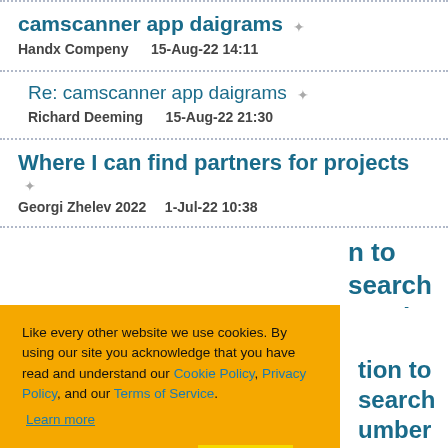camscanner app daigrams
Handx Compeny   15-Aug-22 14:11
Re: camscanner app daigrams
Richard Deeming   15-Aug-22 21:30
Where I can find partners for projects
Georgi Zhelev 2022   1-Jul-22 10:38
n to search
number use
[Figure (screenshot): Cookie consent overlay on orange background with text: 'Like every other website we use cookies. By using our site you acknowledge that you have read and understand our Cookie Policy, Privacy Policy, and our Terms of Service. Learn more' and buttons: 'Ask me later', 'Decline', 'Allow cookies']
tion to search
umber use
Richard Deeming   30 May 22 21:30